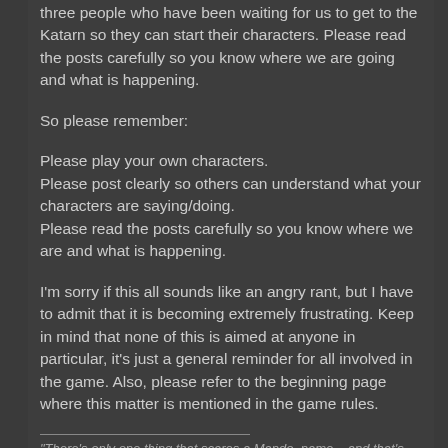three people who have been waiting for us to get to the Katarn so they can start their characters.  Please read the posts carefully so you know where we are going and what is happening.
So please remember:
Please play your own characters.
Please post clearly so others can understand what your characters are saying/doing.
Please read the posts carefully so you know where we are and what is happening.
I'm sorry if this all sounds like an angry rant, but I have to admit that it is becoming extremely frustrating.  Keep in mind that none of this is aimed at anyone in particular, it's just a general reminder for all involved in the game.  Also, please refer to the beginning page where this matter is mentioned in the game rules.
"There's only one thing that scares a Mando, name... and that's...